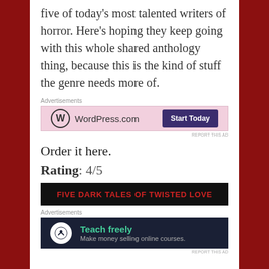five of today's most talented writers of horror. Here's hoping they keep going with this whole shared anthology thing, because this is the kind of stuff the genre needs more of.
[Figure (other): WordPress.com advertisement banner with pink background, WordPress logo, and 'Start Today' button]
Order it here.
Rating: 4/5
[Figure (other): Book banner image with dark background showing 'FIVE DARK TALES OF TWISTED LOVE' in red text]
[Figure (other): Teach freely advertisement - dark navy background with green 'Teach freely' text and 'Make money selling online courses.' subtitle]